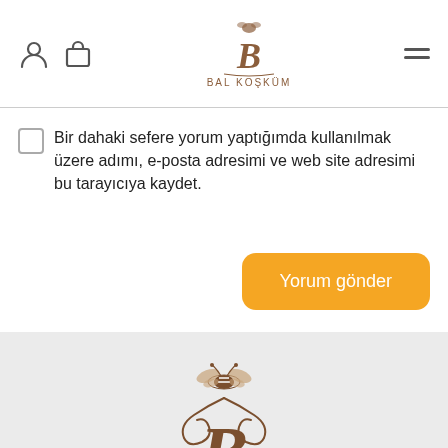BAL KOŞKÜM
Bir dahaki sefere yorum yaptığımda kullanılmak üzere adımı, e-posta adresimi ve web site adresimi bu tarayıcıya kaydet.
Yorum gönder
[Figure (logo): Bal Koşküm logo with bee illustration and decorative script letter B with ornamental swirls]